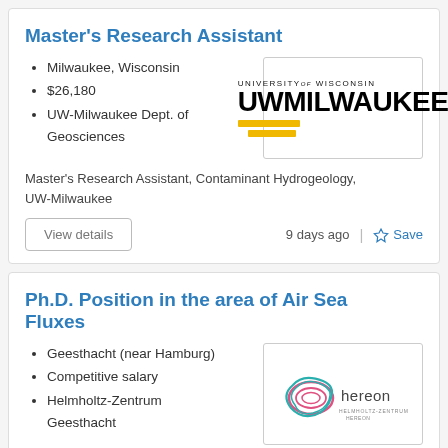Master's Research Assistant
Milwaukee, Wisconsin
$26,180
UW-Milwaukee Dept. of Geosciences
[Figure (logo): University of Wisconsin UW-Milwaukee logo with yellow bars]
Master's Research Assistant, Contaminant Hydrogeology, UW-Milwaukee
9 days ago
Ph.D. Position in the area of Air Sea Fluxes
Geesthacht (near Hamburg)
Competitive salary
Helmholtz-Zentrum Geesthacht
[Figure (logo): Hereon Helmholtz-Zentrum Hereon logo with circular design]